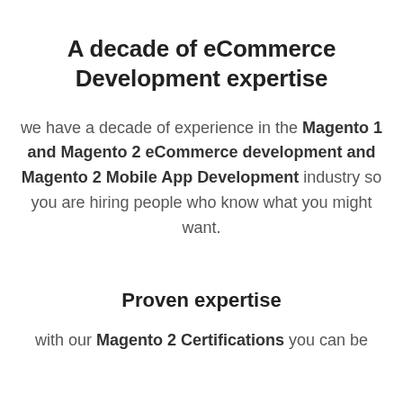A decade of eCommerce Development expertise
we have a decade of experience in the Magento 1 and Magento 2 eCommerce development and Magento 2 Mobile App Development industry so you are hiring people who know what you might want.
Proven expertise
with our Magento 2 Certifications you can be